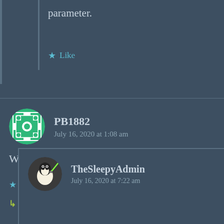parameter.
★ Like
PB1882
July 16, 2020 at 1:08 am
Works great, thank you!
★ Like
↳ Reply
TheSleepyAdmin
July 16, 2020 at 7:22 am